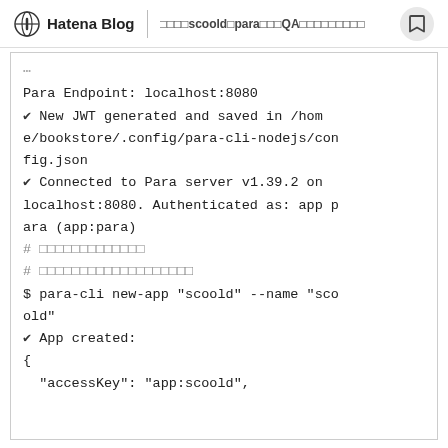Hatena Blog | scooldとparaを使ったQAサイトの作り方
Para Endpoint: localhost:8080
✔ New JWT generated and saved in /home/bookstore/.config/para-cli-nodejs/config.json
✔ Connected to Para server v1.39.2 on localhost:8080. Authenticated as: app para (app:para)
# アプリケーションの作成
# アプリケーション用APIキーの発行
$ para-cli new-app "scoold" --name "scoold"
✔ App created:
{
  "accessKey": "app:scoold",